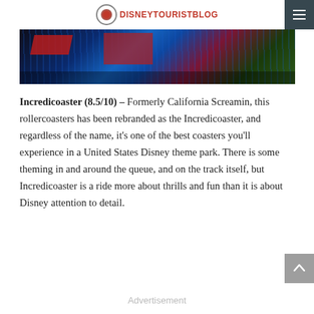DISNEYTOURISTBLOG
[Figure (photo): A rollercoaster ride photo showing colorful track structure with blue steel supports, red ride vehicle elements, and colorful theming at what appears to be California Adventure park.]
Incredicoaster (8.5/10) – Formerly California Screamin, this rollercoasters has been rebranded as the Incredicoaster, and regardless of the name, it's one of the best coasters you'll experience in a United States Disney theme park. There is some theming in and around the queue, and on the track itself, but Incredicoaster is a ride more about thrills and fun than it is about Disney attention to detail.
Advertisement